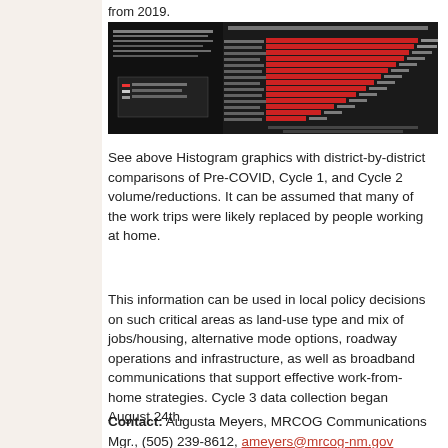from 2019.
[Figure (screenshot): Histogram graphics showing district-by-district comparisons with horizontal bar charts on a black background, showing Pre-COVID, Cycle 1, and Cycle 2 volume/reductions with red bars.]
See above Histogram graphics with district-by-district comparisons of Pre-COVID, Cycle 1, and Cycle 2 volume/reductions. It can be assumed that many of the work trips were likely replaced by people working at home.
This information can be used in local policy decisions on such critical areas as land-use type and mix of jobs/housing, alternative mode options, roadway operations and infrastructure, as well as broadband communications that support effective work-from-home strategies. Cycle 3 data collection began August 24th.
Contact: Augusta Meyers, MRCOG Communications Mgr., (505) 239-8612, ameyers@mrcog-nm.gov